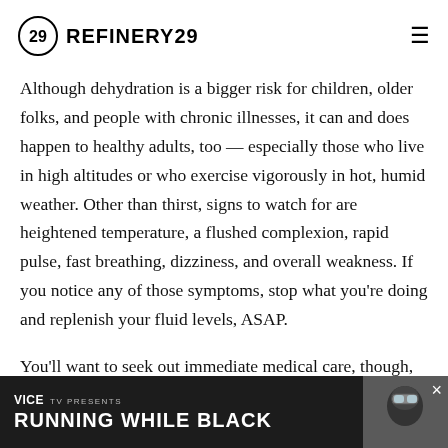REFINERY29
Although dehydration is a bigger risk for children, older folks, and people with chronic illnesses, it can and does happen to healthy adults, too — especially those who live in high altitudes or who exercise vigorously in hot, humid weather. Other than thirst, signs to watch for are heightened temperature, a flushed complexion, rapid pulse, fast breathing, dizziness, and overall weakness. If you notice any of those symptoms, stop what you're doing and replenish your fluid levels, ASAP.
You'll want to seek out immediate medical care, though, if you notice signs of extreme dehydration, such as: super-dry mouth [partially obscured] to zero u[partially obscured]
[Figure (screenshot): VICE TV advertisement banner at bottom of page reading 'VICE TV PRESENTS RUNNING WHILE BLACK' with image of person wearing ski goggles, with a close (×) button]